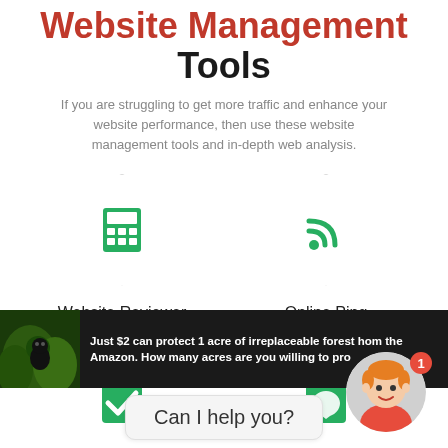Website Management Tools
If you are struggling to get more traffic and enhance your website performance, then use these website management tools and in-depth web analysis.
[Figure (infographic): Hexagon icon with green calculator icon, labeled Website Reviewer]
Website Reviewer
[Figure (infographic): Hexagon icon with green RSS/ping icon, labeled Online Ping Website Tool]
Online Ping Website Tool
[Figure (infographic): Partial hexagon icons with green icons in bottom row]
[Figure (photo): Ad banner: dark background with rainforest image and text about protecting 1 acre of forest in the Amazon for $2]
Just $2 can protect 1 acre of irreplaceable forest home the Amazon. How many acres are you willing to pro
Can I help you?
[Figure (illustration): Chat avatar: cartoon character with orange hair and red shirt, with notification badge showing 1]